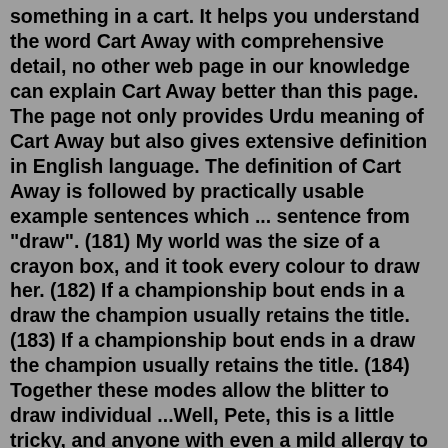something in a cart. It helps you understand the word Cart Away with comprehensive detail, no other web page in our knowledge can explain Cart Away better than this page. The page not only provides Urdu meaning of Cart Away but also gives extensive definition in English language. The definition of Cart Away is followed by practically usable example sentences which ... sentence from "draw". (181) My world was the size of a crayon box, and it took every colour to draw her. (182) If a championship bout ends in a draw the champion usually retains the title. (183) If a championship bout ends in a draw the champion usually retains the title. (184) Together these modes allow the blitter to draw individual ...Well, Pete, this is a little tricky, and anyone with even a mild allergy to stats should look away now. People turn their carts around at the supermarket and look away from me at the bank. Look at a bright light and look away, and you see the negative image of it. They will look away in shame as the one-legged man outdrinks the whole